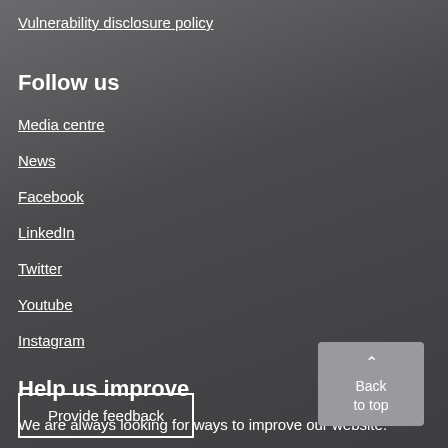Vulnerability disclosure policy
Follow us
Media centre
News
Facebook
LinkedIn
Twitter
Youtube
Instagram
Help us improve
We are always looking for ways to improve our website.
Provide feedback
Back to top